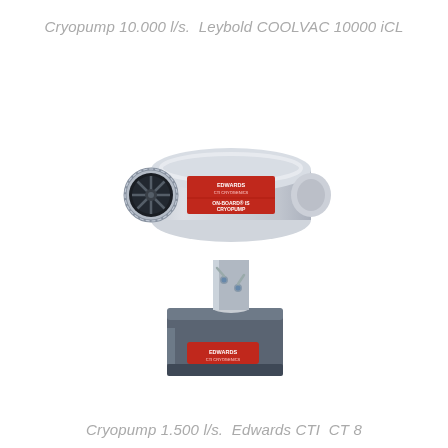Cryopump 10.000 l/s.  Leybold COOLVAC 10000 iCL
[Figure (photo): Photo of a cryopump unit — Edwards CTI On-Board IS Cryopump. Cylindrical stainless steel pump body with red Edwards branding label mounted horizontally on a cylindrical pedestal, sitting on a grey/dark blue square compressor base unit with a small red Edwards label. Connections and tubes visible on the pedestal.]
Cryopump 1.500 l/s.  Edwards CTI  CT 8